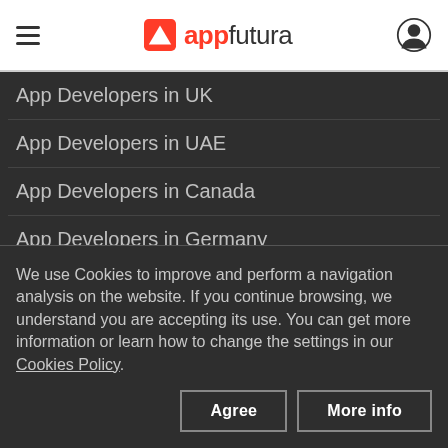appfutura
App Developers in UK
App Developers in UAE
App Developers in Canada
App Developers in Germany
App Developers in Australia
App Developers in Philippines
We use Cookies to improve and perform a navigation analysis on the website. If you continue browsing, we understand you are accepting its use. You can get more information or learn how to change the settings in our Cookies Policy.
Agree | More info